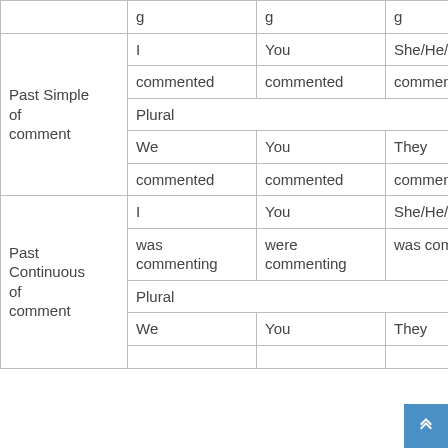|  | I / We | You | She/He/It / They |
| --- | --- | --- | --- |
|  | g | g | g |
| Past Simple of comment | I | You | She/He/It |
|  | commented | commented | commented |
|  | Plural |  |  |
|  | We | You | They |
|  | commented | commented | commented |
| Past Continuous of comment | I | You | She/He/It |
|  | was commenting | were commenting | was commenting |
|  | Plural |  |  |
|  | We | You | They |